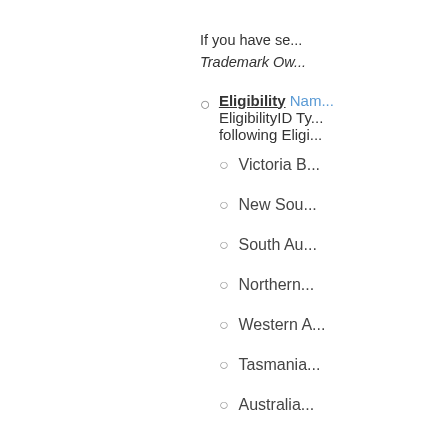If you have se... Trademark Ow...
Eligibility Nam... EligibilityID Ty... following Eligi...
Victoria B...
New Sou...
South Au...
Northern...
Western A...
Tasmania...
Australia...